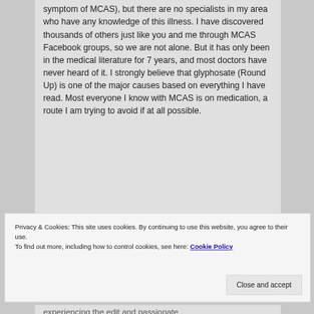symptom of MCAS), but there are no specialists in my area who have any knowledge of this illness. I have discovered thousands of others just like you and me through MCAS Facebook groups, so we are not alone. But it has only been in the medical literature for 7 years, and most doctors have never heard of it. I strongly believe that glyphosate (Round Up) is one of the major causes based on everything I have read. Most everyone I know with MCAS is on medication, a route I am trying to avoid if at all possible.
Privacy & Cookies: This site uses cookies. By continuing to use this website, you agree to their use.
To find out more, including how to control cookies, see here: Cookie Policy
experiencing the edit and passionate .